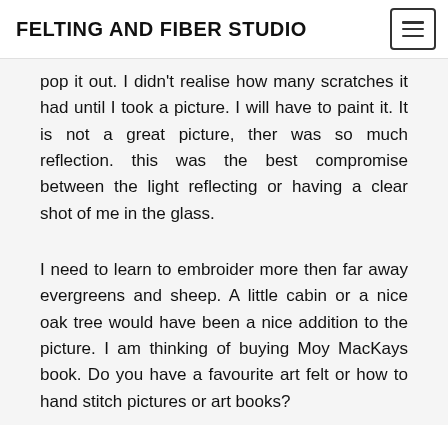FELTING AND FIBER STUDIO
pop it out. I didn't realise how many scratches it had until I took a picture. I will have to paint it. It is not a great picture, ther was so much reflection. this was the best compromise between the light reflecting or having a clear shot of me in the glass.
I need to learn to embroider more then far away evergreens and sheep. A little cabin or a nice oak tree would have been a nice addition to the picture. I am thinking of buying Moy MacKays book. Do you have a favourite art felt or how to hand stitch pictures or art books?